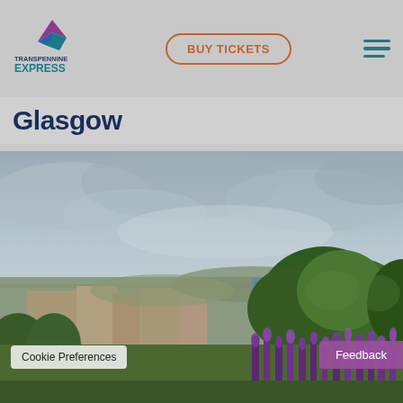Transpennine Express — BUY TICKETS — navigation menu
Glasgow
[Figure (photo): Outdoor photograph of Glasgow cityscape with stone buildings, green trees, purple lupins in foreground, overcast grey sky]
Cookie Preferences
Feedback